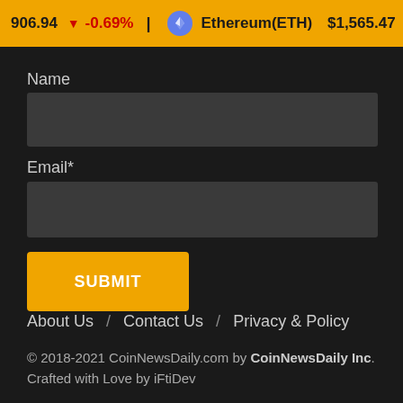906.94 ↓ -0.69%  Ethereum(ETH) $1,565.47 ↓ -0.63%  Teth
Name
Email*
SUBMIT
About Us / Contact Us / Privacy & Policy
© 2018-2021 CoinNewsDaily.com by CoinNewsDaily Inc. Crafted with Love by iFtiDev